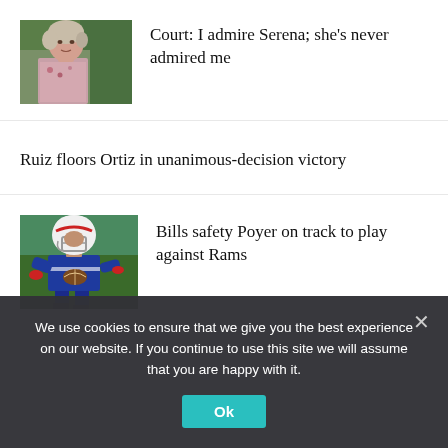[Figure (photo): Headshot of an older woman with short silver-blonde hair, wearing a floral blouse, outdoors with green background]
Court: I admire Serena; she’s never admired me
Ruiz floors Ortiz in unanimous-decision victory
[Figure (photo): Buffalo Bills player in blue uniform and white helmet catching a football during practice]
Bills safety Poyer on track to play against Rams
We use cookies to ensure that we give you the best experience on our website. If you continue to use this site we will assume that you are happy with it.